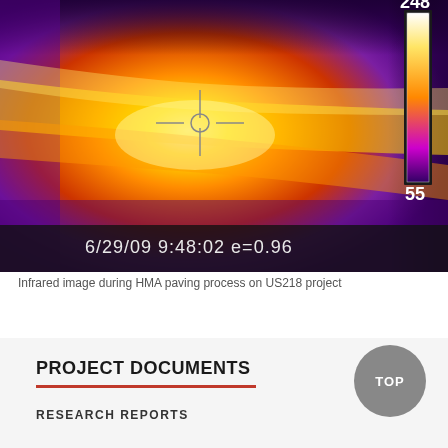[Figure (photo): Infrared thermal image of HMA paving process on US218 project. Shows thermal gradient from hot (yellow/white center) to cool (purple edges). Crosshair targeting reticle visible in center. Temperature scale bar on right showing 248 at top and 55 at bottom. Timestamp: 6/29/09 9:48:02 e=0.96]
Infrared image during HMA paving process on US218 project
PROJECT DOCUMENTS
RESEARCH REPORTS